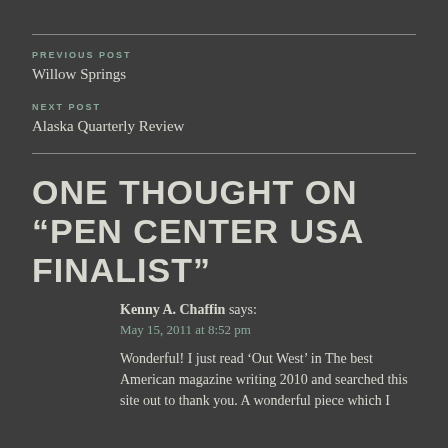PREVIOUS POST
Willow Springs
NEXT POST
Alaska Quarterly Review
ONE THOUGHT ON “PEN CENTER USA FINALIST”
Kenny A. Chaffin says:
May 15, 2011 at 8:52 pm
Wonderful! I just read ‘Out West’ in The best American magazine writing 2010 and searched this site out to thank you. A wonderful piece which I